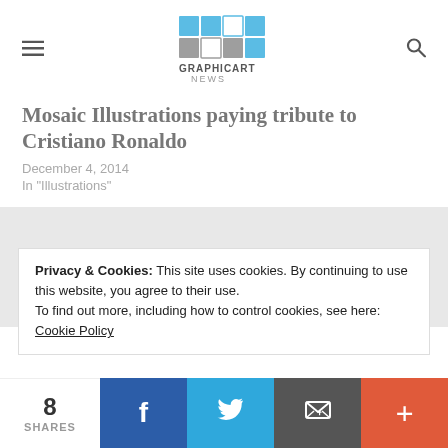GRAPHICART NEWS
Mosaic Illustrations paying tribute to Cristiano Ronaldo
December 4, 2014
In "Illustrations"
Privacy & Cookies: This site uses cookies. By continuing to use this website, you agree to their use.
To find out more, including how to control cookies, see here: Cookie Policy
8 SHARES | Facebook | Twitter | Email | More